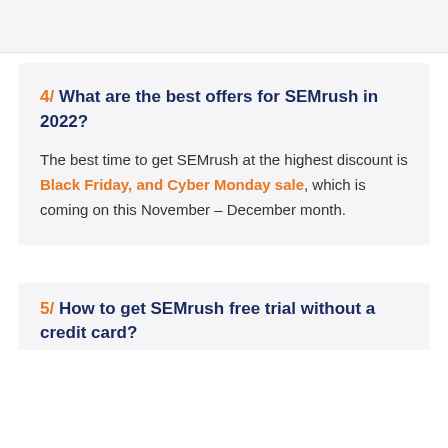4/ What are the best offers for SEMrush in 2022?
The best time to get SEMrush at the highest discount is Black Friday, and Cyber Monday sale, which is coming on this November – December month.
5/ How to get SEMrush free trial without a credit card?